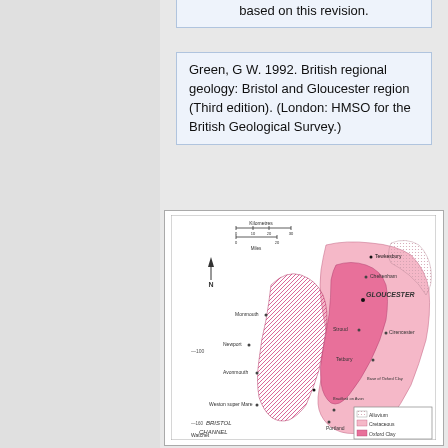based on this revision.
Green, G W. 1992. British regional geology: Bristol and Gloucester region (Third edition). (London: HMSO for the British Geological Survey.)
[Figure (map): Geological map of the Bristol and Gloucester region showing geological formations including Alluvium, Cretaceous, and Oxford Clay. The map shows the Bristol Channel area, Gloucester, and surrounding regions with geological zones marked by different colors and patterns. A north arrow and scale bar (Kilometres 0-30, Miles 0-20) are included. Labels include Bristol Channel, Gloucester, Monmouth, Newport, Avonmouth, Tewkesbury, Cheltenham, Stroud, Cirencester, Tetbury, Wotton-under-Edge, Base of Oxford Clay, Bradford on Avon, Watcher. Legend shows Alluvium (dotted), Cretaceous (light pink), Oxford Clay (darker pink).]